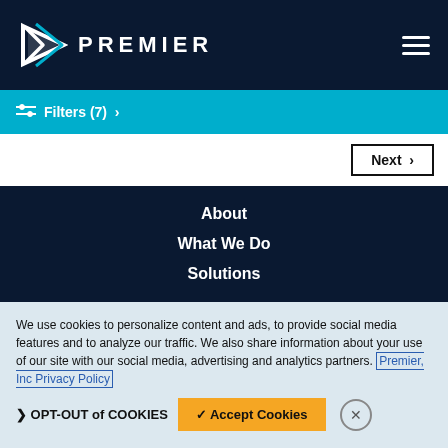[Figure (logo): Premier logo with triangular icon and 'PREMIER' text in white on dark navy background, hamburger menu icon on right]
Filters (7) >
Next >
About
What We Do
Solutions
We use cookies to personalize content and ads, to provide social media features and to analyze our traffic. We also share information about your use of our site with our social media, advertising and analytics partners. Premier, Inc Privacy Policy
❯ OPT-OUT of COOKIES
✓ Accept Cookies